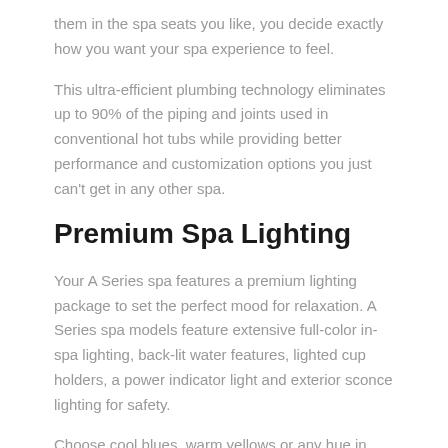them in the spa seats you like, you decide exactly how you want your spa experience to feel.
This ultra-efficient plumbing technology eliminates up to 90% of the piping and joints used in conventional hot tubs while providing better performance and customization options you just can't get in any other spa.
Premium Spa Lighting
Your A Series spa features a premium lighting package to set the perfect mood for relaxation. A Series spa models feature extensive full-color in-spa lighting, back-lit water features, lighted cup holders, a power indicator light and exterior sconce lighting for safety.
Choose cool blues, warm yellows or any hue in between to perfect your tranquil soothing spa environment.